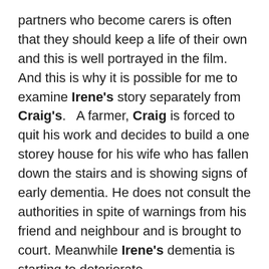partners who become carers is often that they should keep a life of their own and this is well portrayed in the film. And this is why it is possible for me to examine Irene's story separately from Craig's.   A farmer, Craig is forced to quit his work and decides to build a one storey house for his wife who has fallen down the stairs and is showing signs of early dementia. He does not consult the authorities in spite of warnings from his friend and neighbour and is brought to court. Meanwhile Irene's dementia is starting to deteriorate.
The film in all its characteristics is extremely true to life. It is said to be based on real life.
The physical appearance of the old couple. There are many close-ups with lined faces and old bodies